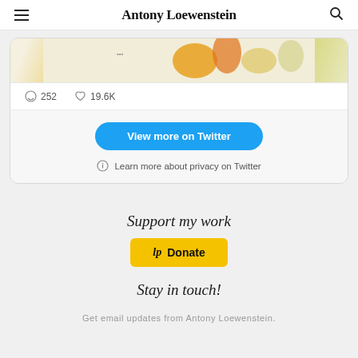Antony Loewenstein
[Figure (screenshot): Partial Twitter embed card showing a tweet image with orange and yellow illustrated figures, with 252 comments and 19.6K likes, plus a 'View more on Twitter' button and 'Learn more about privacy on Twitter' link]
Support my work
[Figure (other): Yellow Donate button with Logitech/LP icon]
Stay in touch!
Get email updates from Antony Loewenstein.